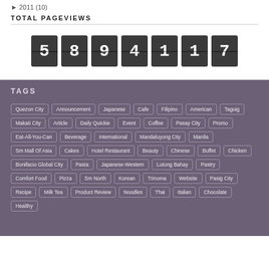2011 (10)
TOTAL PAGEVIEWS
[Figure (other): Flip counter displaying the number 5894117]
TAGS
Quezon City
Announcement
Japanese
Cafe
Filipino
American
Taguig
Makati City
Article
Daily Quickie
Event
Coffee
Pasay City
Promo
Eat-All-You-Can
Beverage
International
Mandaluyong City
Manila
Sm Mall Of Asia
Cakes
Hotel Restaurant
Beauty
Chinese
Buffet
Chicken
Bonifacio Global City
Pasta
Japanese-Western
Lutong Bahay
Pastry
Comfort Food
Pizza
Sm North
Korean
Trinoma
Website
Pasig City
Recipe
Milk Tea
Product Review
Noodles
Thai
Italian
Chocolate
Healthy